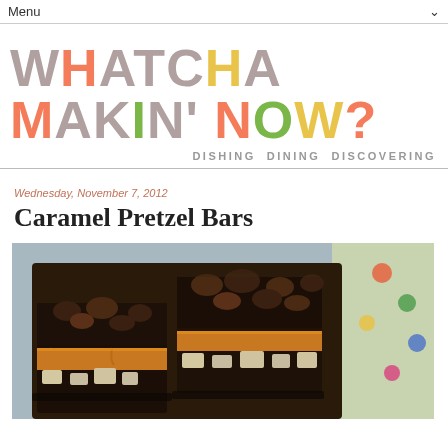Menu
WHATCHA MAKIN' NOW?
DISHING  DINING  DISCOVERING
Wednesday, November 7, 2012
Caramel Pretzel Bars
[Figure (photo): Photo of caramel pretzel bars — stacked chocolate-covered bars with pretzel and caramel layers visible, on a colorful plate]